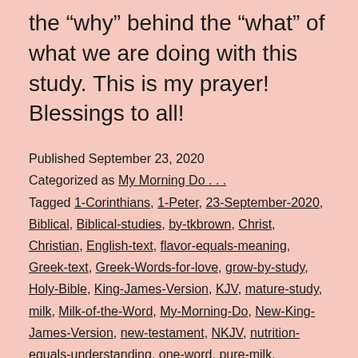the “why” behind the “what” of what we are doing with this study. This is my prayer! Blessings to all!
Published September 23, 2020
Categorized as My Morning Do . . .
Tagged 1-Corinthians, 1-Peter, 23-September-2020, Biblical, Biblical-studies, by-tkbrown, Christ, Christian, English-text, flavor-equals-meaning, Greek-text, Greek-Words-for-love, grow-by-study, Holy-Bible, King-James-Version, KJV, mature-study, milk, Milk-of-the-Word, My-Morning-Do, New-King-James-Version, new-testament, NKJV, nutrition-equals-understanding, one-word, pure-milk, scripture, several-words, sincere-milk, solid-food, sort-through-flavors, spiritual-strength, studies,